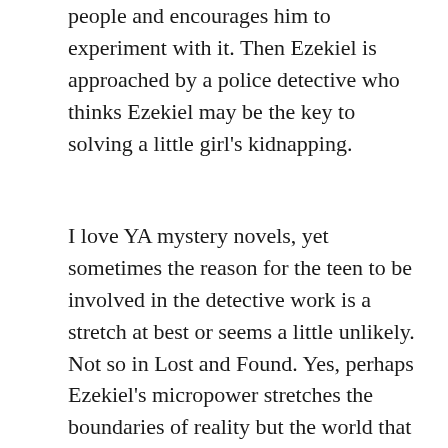people and encourages him to experiment with it. Then Ezekiel is approached by a police detective who thinks Ezekiel may be the key to solving a little girl's kidnapping.
I love YA mystery novels, yet sometimes the reason for the teen to be involved in the detective work is a stretch at best or seems a little unlikely. Not so in Lost and Found. Yes, perhaps Ezekiel's micropower stretches the boundaries of reality but the world that is built around the story makes complete sense. Ezekiel is not the only one with a micropower and the sections of the book devoted to him meeting others with similar but unique seemingly useless powers are fantastic additions to the story. As Ezekiel discovers more about the possibility of the existence of mircopowers, comes to accept that his ability to locate and rehome lost items is a micropower and starts to experiment with this ability, he earns his place as a junior detective. And it turns out he is pretty